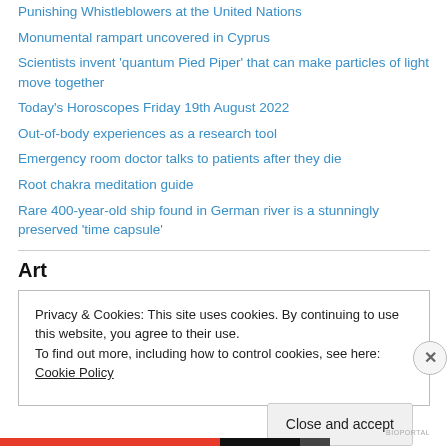Punishing Whistleblowers at the United Nations
Monumental rampart uncovered in Cyprus
Scientists invent 'quantum Pied Piper' that can make particles of light move together
Today's Horoscopes Friday 19th August 2022
Out-of-body experiences as a research tool
Emergency room doctor talks to patients after they die
Root chakra meditation guide
Rare 400-year-old ship found in German river is a stunningly preserved 'time capsule'
Art
Privacy & Cookies: This site uses cookies. By continuing to use this website, you agree to their use.
To find out more, including how to control cookies, see here: Cookie Policy
[Close and accept]